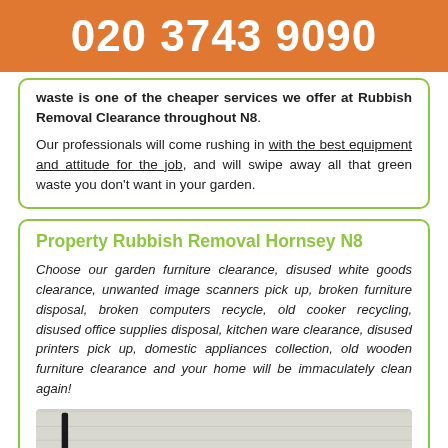020 3743 9090
waste is one of the cheaper services we offer at Rubbish Removal Clearance throughout N8.
Our professionals will come rushing in with the best equipment and attitude for the job, and will swipe away all that green waste you don't want in your garden.
Property Rubbish Removal Hornsey N8
Choose our garden furniture clearance, disused white goods clearance, unwanted image scanners pick up, broken furniture disposal, broken computers recycle, old cooker recycling, disused office supplies disposal, kitchen ware clearance, disused printers pick up, domestic appliances collection, old wooden furniture clearance and your home will be immaculately clean again!
[Figure (photo): Partial photo of what appears to be a white brick wall with a dark diagonal element (possibly a handle or tool) and a blue element at the bottom.]